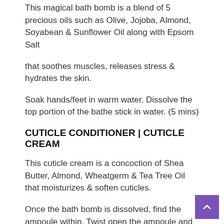This magical bath bomb is a blend of 5 precious oils such as Olive, Jojoba, Almond, Soyabean & Sunflower Oil along with Epsom Salt
that soothes muscles, releases stress & hydrates the skin.
Soak hands/feet in warm water. Dissolve the top portion of the bathe stick in water. (5 mins)
CUTICLE CONDITIONER | CUTICLE CREAM
This cuticle cream is a concoction of Shea Butter, Almond, Wheatgerm & Tea Tree Oil that moisturizes & soften cuticles.
Once the bath bomb is dissolved, find the ampoule within. Twist open the ampoule and apply the cream on cuticles. Clean softened